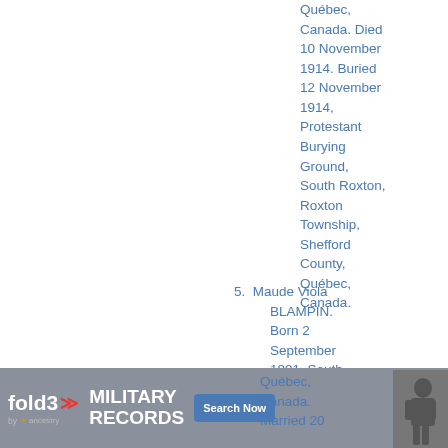Québec, Canada. Died 10 November 1914. Buried 12 November 1914, Protestant Burying Ground, South Roxton, Roxton Township, Shefford County, Québec, Canada.
5. Maude Viola BLAMPIN. Born 2 September 1891, South Roxton, Roxton Township, Shefford County, Québec, Canada. Married 20
[Figure (other): fold3 by Ancestry advertisement banner for Military Records with Search Now button and soldier photo]